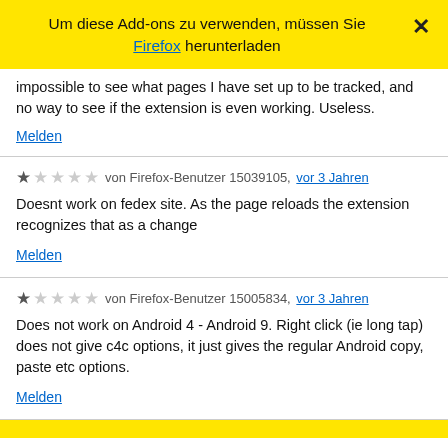Um diese Add-ons zu verwenden, müssen Sie Firefox herunterladen
impossible to see what pages I have set up to be tracked, and no way to see if the extension is even working. Useless.
Melden
★☆☆☆☆ von Firefox-Benutzer 15039105, vor 3 Jahren
Doesnt work on fedex site. As the page reloads the extension recognizes that as a change
Melden
★☆☆☆☆ von Firefox-Benutzer 15005834, vor 3 Jahren
Does not work on Android 4 - Android 9. Right click (ie long tap) does not give c4c options, it just gives the regular Android copy, paste etc options.
Melden